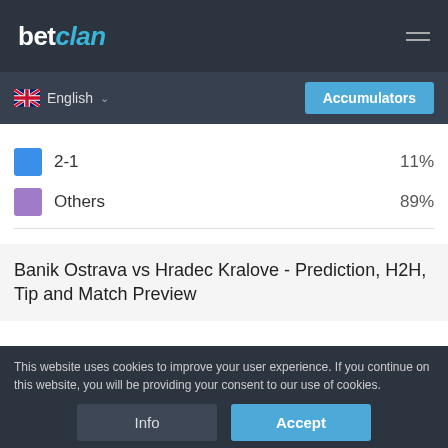betclan
English
Accumulators
2-1   11%
Others   89%
Banik Ostrava vs Hradec Kralove - Prediction, H2H, Tip and Match Preview
Football  #AD
This website uses cookies to improve your user experience. If you continue on this website, you will be providing your consent to our use of cookies.
Info
Accept